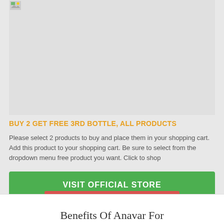[Figure (other): Partially visible product image placeholder with broken image icon in top-left corner, gray background]
BUY 2 GET FREE 3RD BOTTLE, ALL PRODUCTS
Please select 2 products to buy and place them in your shopping cart. Add this product to your shopping cart. Be sure to select from the dropdown menu free product you want. Click to shop
VISIT OFFICIAL STORE
Benefits Of Anavar For